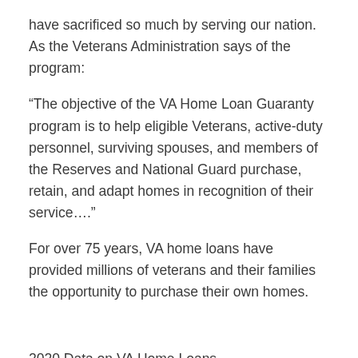have sacrificed so much by serving our nation. As the Veterans Administration says of the program:
“The objective of the VA Home Loan Guaranty program is to help eligible Veterans, active-duty personnel, surviving spouses, and members of the Reserves and National Guard purchase, retain, and adapt homes in recognition of their service….”
For over 75 years, VA home loans have provided millions of veterans and their families the opportunity to purchase their own homes.
2020 Data on VA Home Loans
1,246,817 home loans are guaranteed by the